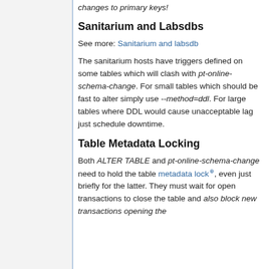changes to primary keys!
Sanitarium and Labsdbs
See more: Sanitarium and labsdb
The sanitarium hosts have triggers defined on some tables which will clash with pt-online-schema-change. For small tables which should be fast to alter simply use --method=ddl. For large tables where DDL would cause unacceptable lag just schedule downtime.
Table Metadata Locking
Both ALTER TABLE and pt-online-schema-change need to hold the table metadata lock, even just briefly for the latter. They must wait for open transactions to close the table and also block new transactions opening the